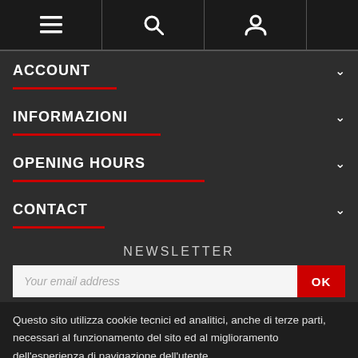[Figure (screenshot): Navigation bar with hamburger menu icon, search icon, and user account icon on dark background]
ACCOUNT
INFORMAZIONI
OPENING HOURS
CONTACT
NEWSLETTER
Your email address
Questo sito utilizza cookie tecnici ed analitici, anche di terze parti, necessari al funzionamento del sito ed al miglioramento dell'esperienza di navigazione dell'utente
Privacy e cookie policy
Accetto